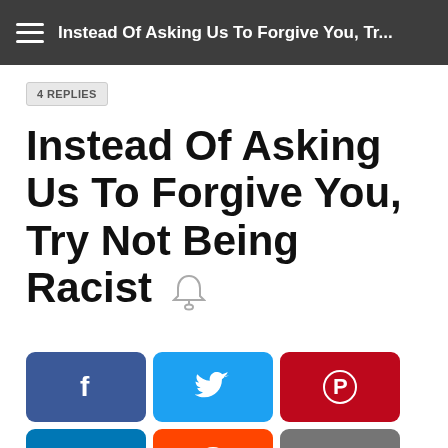Instead Of Asking Us To Forgive You, Tr...
4 REPLIES
Instead Of Asking Us To Forgive You, Try Not Being Racist 🔔
[Figure (infographic): Social share buttons: Facebook (blue), Twitter (light blue), Pinterest (red), LinkedIn (teal), Reddit (orange), Copy (gray)]
RadioRaheem
OPINION
Instead Of Asking Us To